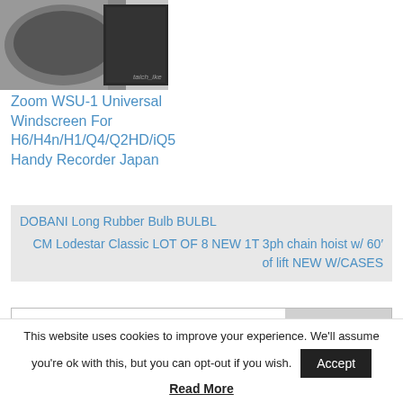[Figure (photo): Product photo of Zoom WSU-1 Universal Windscreen with watermark text 'taich_ike']
Zoom WSU-1 Universal Windscreen For H6/H4n/H1/Q4/Q2HD/iQ5 Handy Recorder Japan
DOBANI Long Rubber Bulb BULBL
CM Lodestar Classic LOT OF 8 NEW 1T 3ph chain hoist w/ 60′ of lift NEW W/CASES
Search …
This website uses cookies to improve your experience. We'll assume you're ok with this, but you can opt-out if you wish.
Accept
Read More